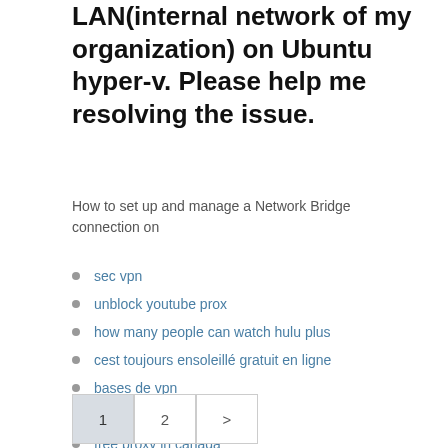LAN(internal network of my organization) on Ubuntu hyper-v. Please help me resolving the issue.
How to set up and manage a Network Bridge connection on
sec vpn
unblock youtube prox
how many people can watch hulu plus
cest toujours ensoleillé gratuit en ligne
bases de vpn
showtime kodi
free proxy in canada
1  2  >